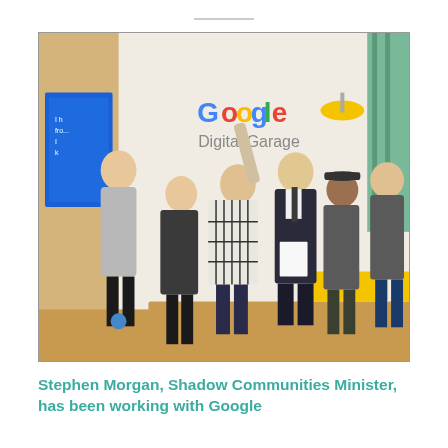[Figure (photo): Group photo of six people standing inside a Google Digital Garage office. A 'Google Digital Garage' sign is visible on the wall behind them. Yellow chairs and a wooden table are in the foreground. One person in the center raises their hand. A man in a suit holds a white folder. A blue screen is visible on the left.]
Stephen Morgan, Shadow Communities Minister, has been working with Google